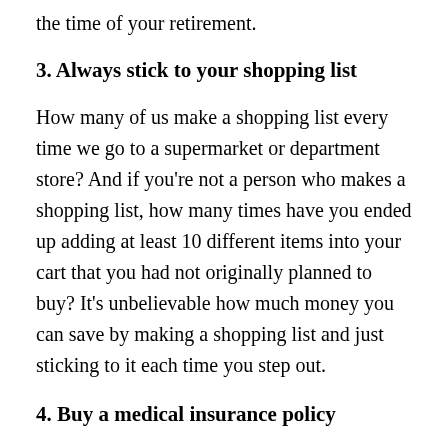the time of your retirement.
3. Always stick to your shopping list
How many of us make a shopping list every time we go to a supermarket or department store? And if you're not a person who makes a shopping list, how many times have you ended up adding at least 10 different items into your cart that you had not originally planned to buy? It's unbelievable how much money you can save by making a shopping list and just sticking to it each time you step out.
4. Buy a medical insurance policy